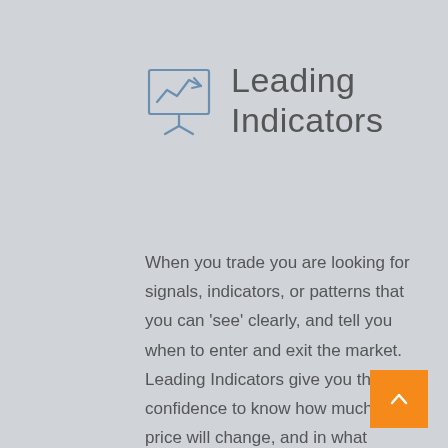[Figure (illustration): Presentation board icon with an upward trending line chart, on a grey background]
Leading Indicators
When you trade you are looking for signals, indicators, or patterns that you can ‘see’ clearly, and tell you when to enter and exit the market. Leading Indicators give you the confidence to know how much price will change, and in what timeframe. They can also tell you when NOT to trade.